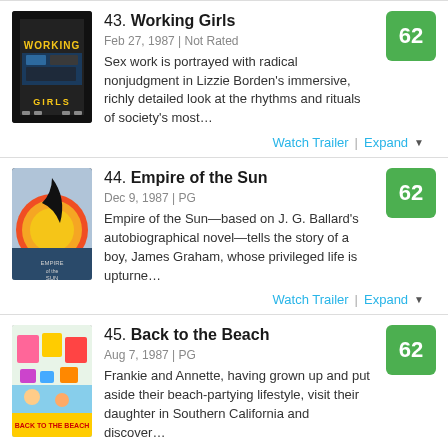43. Working Girls
Feb 27, 1987 | Not Rated
Sex work is portrayed with radical nonjudgment in Lizzie Borden's immersive, richly detailed look at the rhythms and rituals of society's most…
Score: 62
Watch Trailer | Expand
44. Empire of the Sun
Dec 9, 1987 | PG
Empire of the Sun—based on J. G. Ballard's autobiographical novel—tells the story of a boy, James Graham, whose privileged life is upturne…
Score: 62
Watch Trailer | Expand
45. Back to the Beach
Aug 7, 1987 | PG
Frankie and Annette, having grown up and put aside their beach-partying lifestyle, visit their daughter in Southern California and discover…
Score: 62